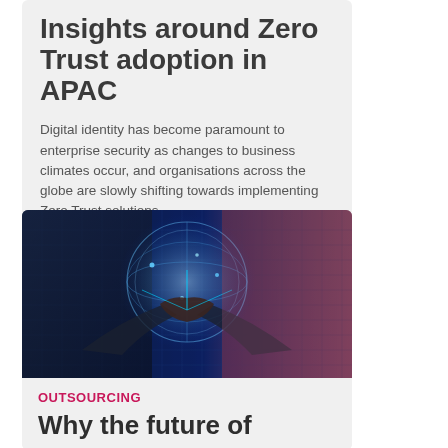Insights around Zero Trust adoption in APAC
Digital identity has become paramount to enterprise security as changes to business climates occur, and organisations across the globe are slowly shifting towards implementing Zero Trust solutions.
[Figure (photo): Two businesspeople shaking hands with a glowing digital globe between them, set against a blue digital data background with a pink/coral tone on the right side.]
OUTSOURCING
Why the future of